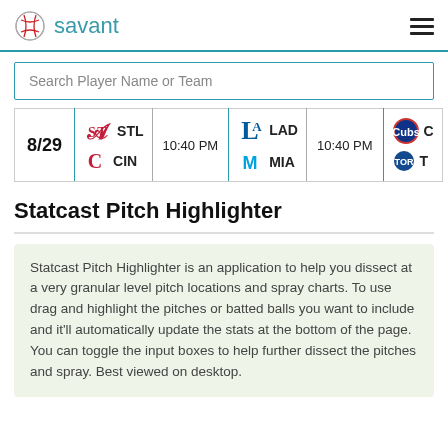savant
Search Player Name or Team
| Date | Away | Time | Home | Time | Team |
| --- | --- | --- | --- | --- | --- |
| 8/29 | STL / CIN | 10:40 PM | LAD / MIA | 10:40 PM | C / T |
Statcast Pitch Highlighter
Statcast Pitch Highlighter is an application to help you dissect at a very granular level pitch locations and spray charts. To use drag and highlight the pitches or batted balls you want to include and it'll automatically update the stats at the bottom of the page. You can toggle the input boxes to help further dissect the pitches and spray. Best viewed on desktop.